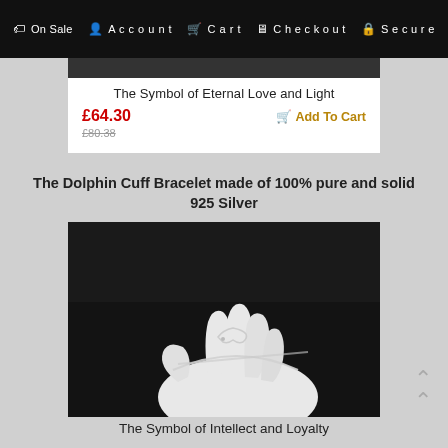On Sale  Account  Cart  Checkout  Secure
The Symbol of Eternal Love and Light
£64.30  £80.38  Add To Cart
The Dolphin Cuff Bracelet made of 100% pure and solid 925 Silver
[Figure (photo): A silver dolphin cuff bracelet displayed on a white mannequin hand against a dark background]
The Symbol of Intellect and Loyalty